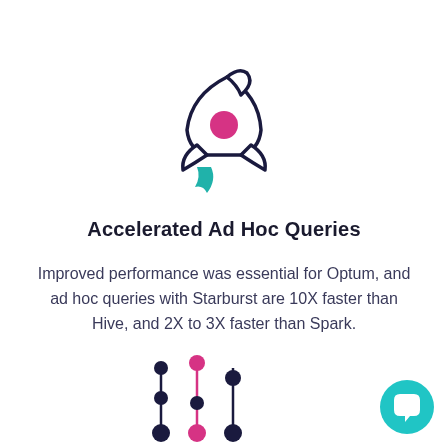[Figure (illustration): Rocket ship icon with dark navy outline, magenta/pink circle window, and teal flame exhaust, pointing upper-right on white background]
Accelerated Ad Hoc Queries
Improved performance was essential for Optum, and ad hoc queries with Starburst are 10X faster than Hive, and 2X to 3X faster than Spark.
[Figure (illustration): Abstract data visualization icon with colored dots and vertical lines in navy, magenta, and dark colors]
[Figure (logo): Teal circular chat bubble / messenger icon in bottom right corner]